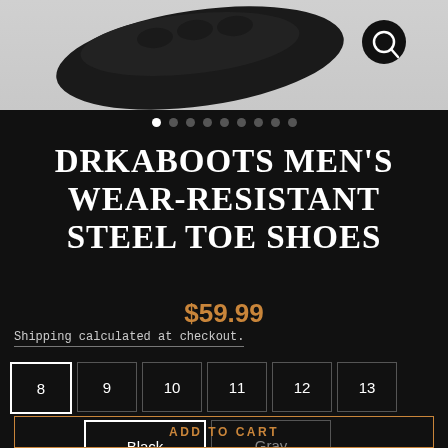[Figure (photo): Black athletic shoe/slide on gray background with magnifier icon]
● ○ ○ ○ ○ ○ ○ ○ ○ (image carousel dots)
DRKABOOTS MEN'S WEAR-RESISTANT STEEL TOE SHOES
$59.99
Shipping calculated at checkout.
Size options: 8 (selected), 9, 10, 11, 12, 13
Color options: Black (selected), Gray
ADD TO CART